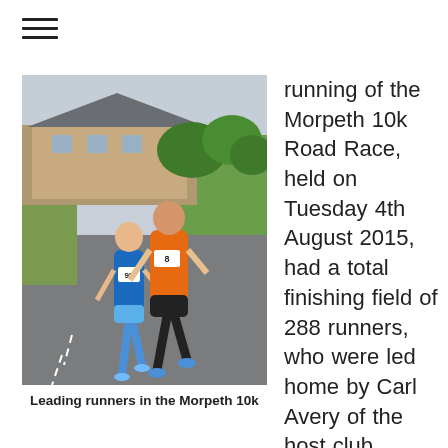[Figure (photo): Two male runners racing on a road during the Morpeth 10k Road Race. The runner in front wears an orange vest with bib number 8, the runner behind wears a blue vest with bib number 95. Background shows stone buildings and green trees/lawn.]
Leading runners in the Morpeth 10k
running of the Morpeth 10k Road Race, held on Tuesday 4th August 2015, had a total finishing field of 288 runners, who were led home by Carl Avery of the host club,